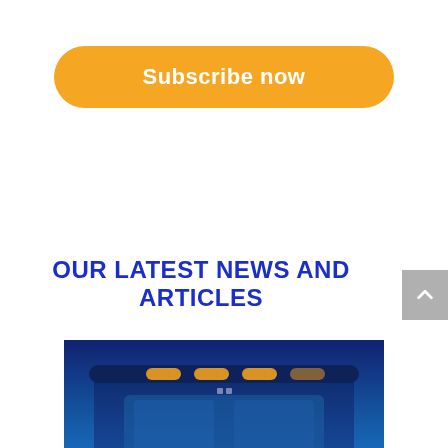[Figure (other): Orange pill-shaped 'Subscribe now' button]
OUR LATEST NEWS AND ARTICLES
[Figure (photo): Front view of a blue truck cab at night with amber clearance lights on the roof]